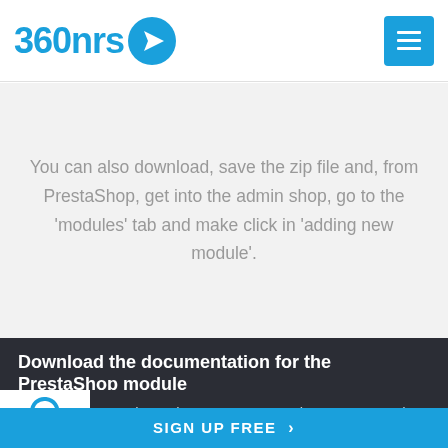[Figure (logo): 360nrs logo with blue text and circular paper plane icon]
[Figure (other): Hamburger menu button, blue square with three horizontal white lines]
You can also download, save the zip file and, from PrestaShop, get into the admin shop, go to the 'modules' tab and make click in 'adding new module'.
Download the documentation for the PrestaShop module
entation to integrate 360NRS in your PrestaShop
SIGN UP FREE >